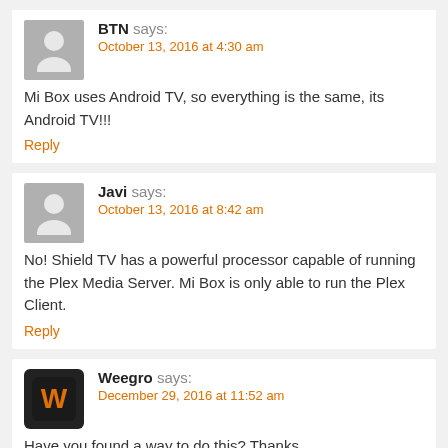BTN says: October 13, 2016 at 4:30 am
Mi Box uses Android TV, so everything is the same, its Android TV!!!
Reply
Javi says: October 13, 2016 at 8:42 am
No! Shield TV has a powerful processor capable of running the Plex Media Server. Mi Box is only able to run the Plex Client.
Reply
Weegro says: December 29, 2016 at 11:52 am
Have you found a way to do this? Thanks
Reply